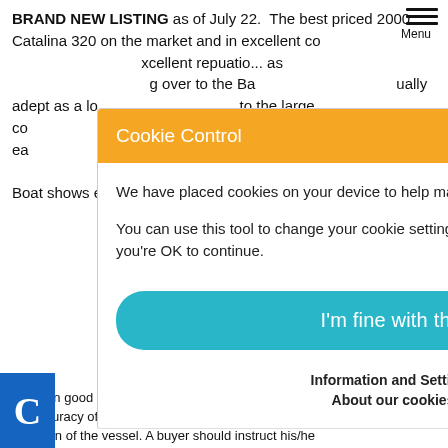BRAND NEW LISTING as of July 22.  The best priced 2000 Catalina 320 on the market and in excellent condition with an excellent reputation as a ... going over to the Ba... ually adept as a lo... to the large co... ransom makes it ea... mar.  Marine Air 16... ltiple vents.  2 Ne... 2012.  Boat shows ex... ion.  Call today to se... extremely nice and m...
[Figure (screenshot): Cookie Control modal dialog with orange header saying 'Cookie Control' and X close button. Body text reads: 'We have placed cookies on your device to help make this website better. You can use this tool to change your cookie settings. Otherwise, we'll assume you're OK to continue.' A teal 'I'm fine with this' button, followed by 'Information and Settings' and 'About our cookies' links.]
Disclosure: ... details of this vessel in good faith but cannot guarantee or warr... e accuracy of this information nor warrant the ... ition of the vessel. A buyer should instruct his/her...